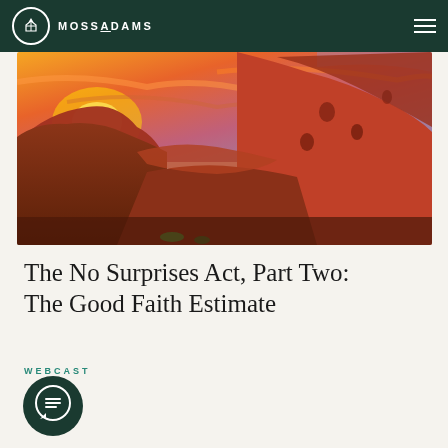MOSSADAMS
[Figure (photo): Dramatic red rock canyon landscape with orange and purple sunset sky]
The No Surprises Act, Part Two: The Good Faith Estimate
WEBCAST
[Figure (illustration): Circular dark green icon with speech bubble / message lines symbol]